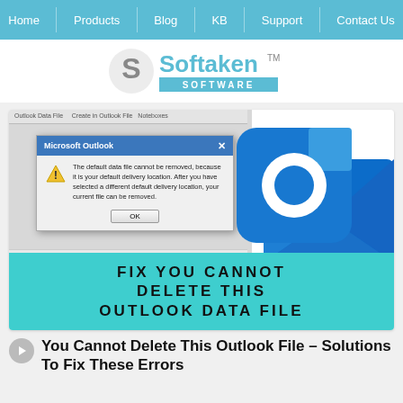Home | Products | Blog | KB | Support | Contact Us
[Figure (logo): Softaken Software logo with stylized S icon and teal banner]
[Figure (screenshot): Screenshot of Microsoft Outlook error dialog saying 'The default data file cannot be removed, because it is your default delivery location. After you have selected a different default delivery location, your current file can be removed.' with OK button, overlaid on Outlook app icon. Banner text reads: FIX YOU CANNOT DELETE THIS OUTLOOK DATA FILE]
You Cannot Delete This Outlook File – Solutions To Fix These Errors